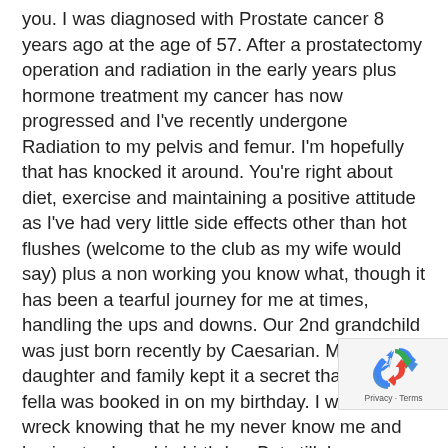you. I was diagnosed with Prostate cancer 8 years ago at the age of 57. After a prostatectomy operation and radiation in the early years plus hormone treatment my cancer has now progressed and I've recently undergone Radiation to my pelvis and femur. I'm hopefully that has knocked it around. You're right about diet, exercise and maintaining a positive attitude as I've had very little side effects other than hot flushes (welcome to the club as my wife would say) plus a non working you know what, though it has been a tearful journey for me at times, handling the ups and downs. Our 2nd grandchild was just born recently by Caesarian. My daughter and family kept it a secret that the little fella was booked in on my birthday. I was a wreck knowing that he my never know me and having to share his birthday. But still, how wonderful it is. My bone loss unfortunately impedes my walking ability although I think it maybe healing. I can't really tell, still, I'll get out and tackle at least half way up Burleigh Headland.
[Figure (other): reCAPTCHA badge with recycling-arrow logo, showing Privacy and Terms links]